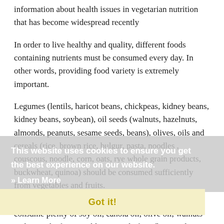information about health issues in vegetarian nutrition that has become widespread recently
In order to live healthy and quality, different foods containing nutrients must be consumed every day. In other words, providing food variety is extremely important.
Legumes (lentils, haricot beans, chickpeas, kidney beans, kidney beans, soybean), oil seeds (walnuts, hazelnuts, almonds, peanuts, sesame seeds, beans), olives, oils and cereals (rice, brown rice, bulgur, pasta, noodles , couscous, noodle, corn, oats, rye whole grain products, buckwheat, quinoa) should be consumed sufficiently from vegetables and fruits.
It is useful for those who do not consume fish to consume plenty of soy oil, canola oil, olive oil, walnuts and green leafy vegetables instead of sunflower oil.
Soy, almond, coconut, rice, hemp, hazelnut milk can be preferred instead of animal milk group.
Instead of cheese, eggs, products made of soy (toff, soy meat and